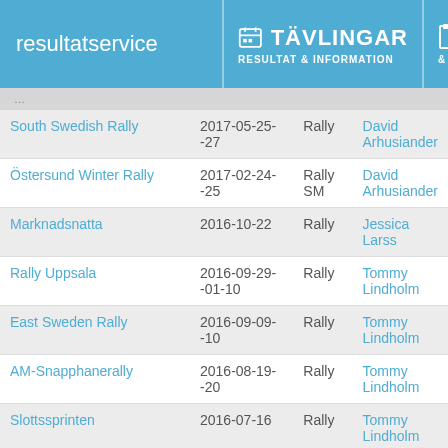resultatservice | TÄVLINGAR RESULTAT & INFORMATION | KÖ & ANN
| Event | Date | Type | Person |
| --- | --- | --- | --- |
| South Swedish Rally | 2017-05-25--27 | Rally | David Arhusiander |
| Östersund Winter Rally | 2017-02-24--25 | Rally SM | David Arhusiander |
| Marknadsnatta | 2016-10-22 | Rally | Jessica Larss |
| Rally Uppsala | 2016-09-29--01-10 | Rally | Tommy Lindholm |
| East Sweden Rally | 2016-09-09--10 | Rally | Tommy Lindholm |
| AM-Snapphanerally | 2016-08-19--20 | Rally | Tommy Lindholm |
| Slottssprinten | 2016-07-16 | Rally | Tommy Lindholm |
| Rally Biltema | 2016-06-04 | Rally | Tommy Lindholm |
| South Swedish Rally | 2016-05-05- | Rally | Ida Bood |